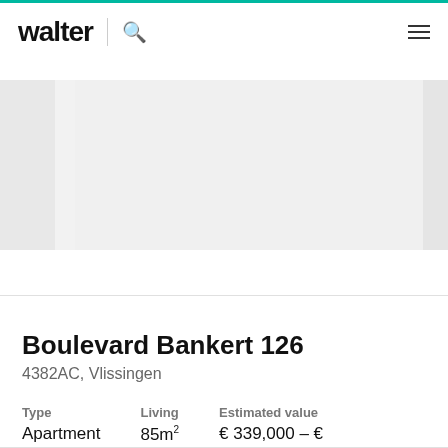walter
[Figure (photo): Property image carousel showing a main center image with partial side images, all appearing as grey placeholder boxes]
Boulevard Bankert 126
4382AC, Vlissingen
| Type | Living | Estimated value |
| --- | --- | --- |
| Apartment | 85m² | € 339,000 – € 374,000 |